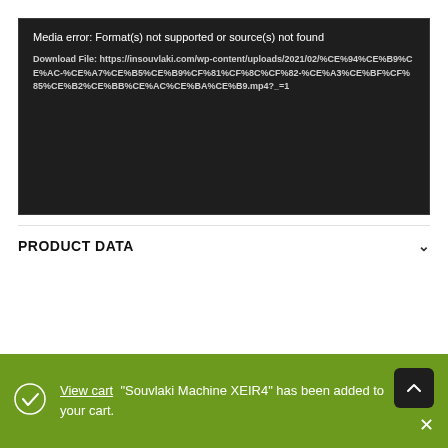[Figure (screenshot): Dark media error box with text: 'Media error: Format(s) not supported or source(s) not found' and a download file URL link.]
PRODUCT DATA
View cart "Souvlaki Machine XEIR4" has been added to your cart.